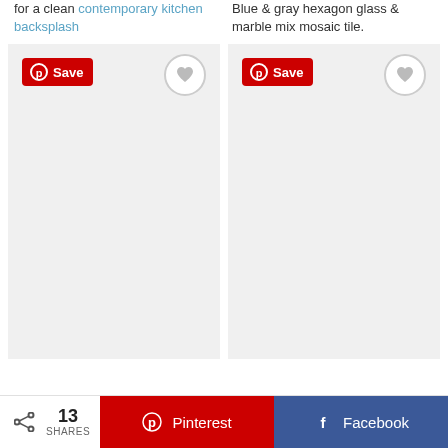for a clean contemporary kitchen backsplash
Blue & gray hexagon glass & marble mix mosaic tile.
[Figure (other): Image card placeholder with Pinterest Save button and heart icon, left side]
[Figure (other): Image card placeholder with Pinterest Save button and heart icon, right side]
13 SHARES  Pinterest  Facebook